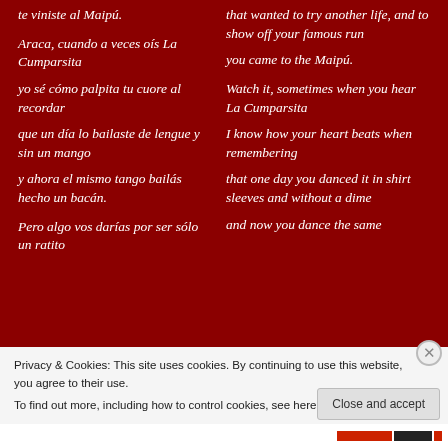te viniste al Maipú.

Araca, cuando a veces oís La Cumparsita
yo sé cómo palpita tu cuore al recordar
que un día lo bailaste de lengue y sin un mango
y ahora el mismo tango bailás hecho un bacán.

Pero algo vos darías por ser sólo un ratito
that wanted to try another life, and to show off your famous run
you came to the Maipú.

Watch it, sometimes when you hear La Cumparsita
I know how your heart beats when remembering
that one day you danced it in shirt sleeves and without a dime
and now you dance the same
Privacy & Cookies: This site uses cookies. By continuing to use this website, you agree to their use.
To find out more, including how to control cookies, see here: Cookie Policy
Close and accept